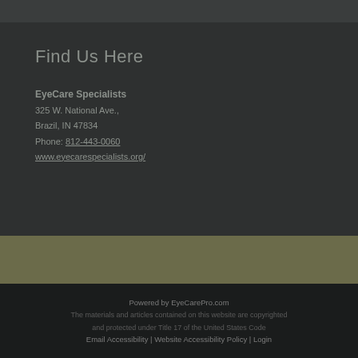Find Us Here
EyeCare Specialists
325 W. National Ave.,
Brazil, IN 47834
Phone: 812-443-0060
www.eyecarespecialists.org/
Powered by EyeCarePro.com
The materials and articles contained on this website are copyrighted and protected under Title 17 of the United States Code
Email Accessibility | Website Accessibility Policy | Login